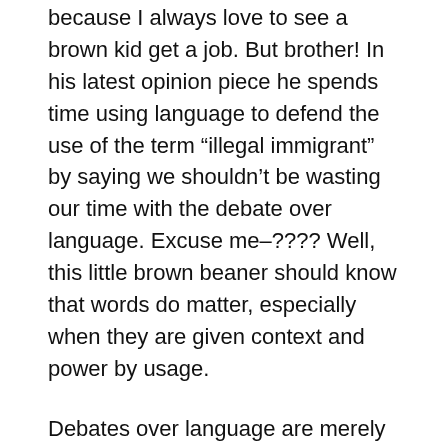because I always love to see a brown kid get a job. But brother! In his latest opinion piece he spends time using language to defend the use of the term “illegal immigrant” by saying we shouldn’t be wasting our time with the debate over language. Excuse me–???? Well, this little brown beaner should know that words do matter, especially when they are given context and power by usage.
Debates over language are merely avenues into understanding the underlying power dynamics of the “real” issue. In the case of immigration, the wholesale ascription of the term “illegal immigrant” to ANY immigrant who is not a LPR (“legal permanent resident”) is useless legally and politically. It acts as if each case is the same,